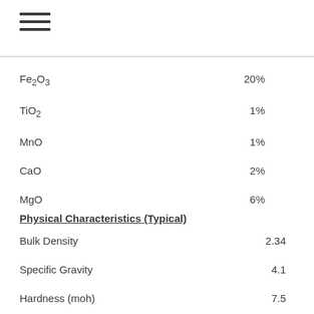≡
| Compound | Value |
| --- | --- |
| Fe2O3 | 20% |
| TiO2 | 1% |
| MnO | 1% |
| CaO | 2% |
| MgO | 6% |
Physical Characteristics (Typical)
| Property | Value |
| --- | --- |
| Bulk Density | 2.34 |
| Specific Gravity | 4.1 |
| Hardness (moh) | 7.5 |